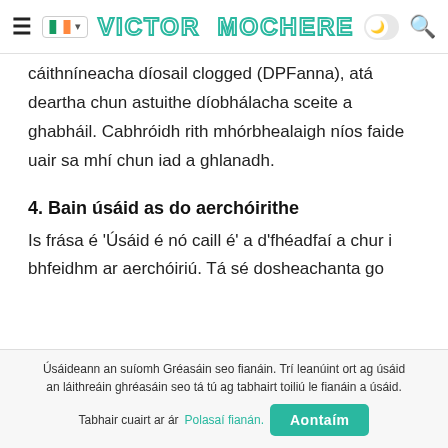VICTOR MOCHERE
cáithníneacha díosail clogged (DPFanna), atá deartha chun astuithe díobhálacha sceite a ghabháil. Cabhróidh rith mhórbhealaigh níos faide uair sa mhí chun iad a ghlanadh.
4. Bain úsáid as do aerchóirithe
Is frása é 'Úsáid é nó caill é' a d'fhéadfaí a chur i bhfeidhm ar aerchóiriú. Tá sé dosheachanta go
Úsáideann an suíomh Gréasáin seo fianáin. Trí leanúint ort ag úsáid an láithreáin ghréasáin seo tá tú ag tabhairt toiliú le fianáin a úsáid. Tabhair cuairt ar ár Polasaí fianán. Aontaím